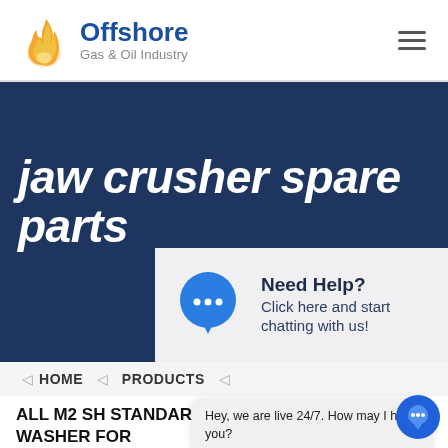[Figure (logo): Offshore Gas & Oil Industry logo with flame icon and text]
[Figure (infographic): Dark blue hero banner with large italic white text 'jaw crusher spare parts' and a chat help widget box]
HOME  PRODUCTS
ALL M2 SH STANDARD SCREW WASHER FOR
Hey, we are live 24/7. How may I help you?